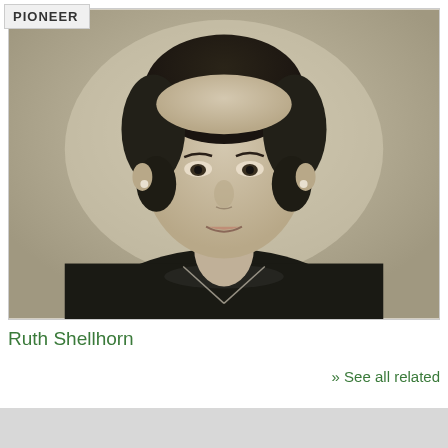PIONEER
[Figure (photo): Black and white portrait photograph of Ruth Shellhorn, a woman with dark curly hair, wearing a dark jacket with a light necklace, smiling slightly, formal portrait style mid-20th century.]
Ruth Shellhorn
» See all related